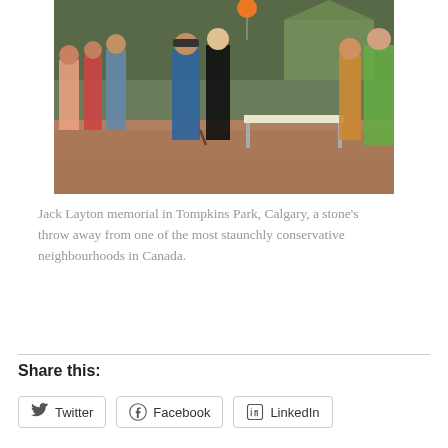[Figure (photo): Outdoor crowd scene at a memorial event. People of various ages are gathered in a public square or park. Some stand in line at a table. There is a gazebo in the background, trees, and an orange heart-shaped balloon visible. A man in a blue shirt and hat holds a cane.]
Jack Layton memorial in Tompkins Park, Calgary, a stone's throw away from one of the most staunchly conservative neighbourhoods in Canada.
Share this:
Twitter
Facebook
LinkedIn